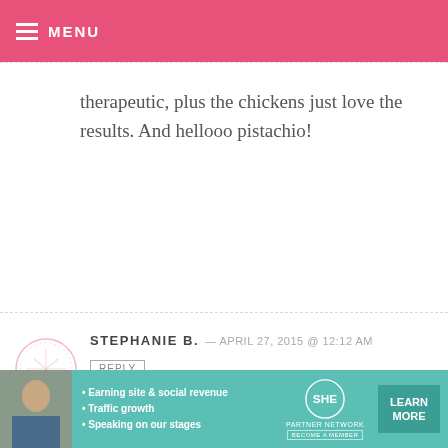MENU
therapeutic, plus the chickens just love the results. And hellooo pistachio!
STEPHANIE B. — APRIL 27, 2015 @ 12:12 AM
REPLY
Playing on the beach with my family. I love the ice color!
CHRISTIE LOSTRACCO — APRIL 27, 2015 @
[Figure (infographic): SHE Partner Network advertisement banner with woman photo, bullet points about earning site & social revenue, traffic growth, speaking on our stages, SHE logo, and LEARN MORE button]